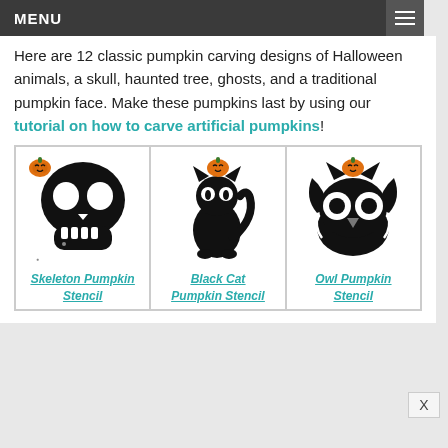MENU
Here are 12 classic pumpkin carving designs of Halloween animals, a skull, haunted tree, ghosts, and a traditional pumpkin face. Make these pumpkins last by using our tutorial on how to carve artificial pumpkins!
[Figure (illustration): Three pumpkin stencil thumbnails side by side: Skeleton Pumpkin Stencil (skull with teeth), Black Cat Pumpkin Stencil (sitting cat silhouette), Owl Pumpkin Stencil (owl face silhouette). Each has a small orange pumpkin icon at top.]
Skeleton Pumpkin Stencil
Black Cat Pumpkin Stencil
Owl Pumpkin Stencil